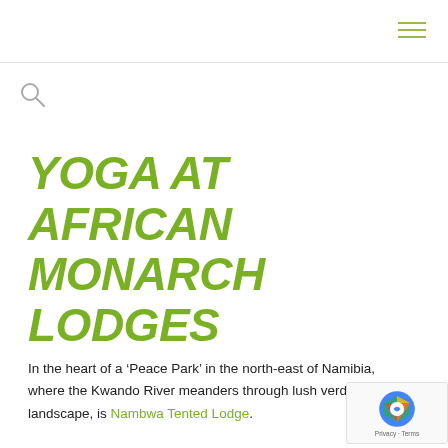YOGA AT AFRICAN MONARCH LODGES
In the heart of a ‘Peace Park’ in the north-east of Namibia, where the Kwando River meanders through lush verdant landscape, is Nambwa Tented Lodge.